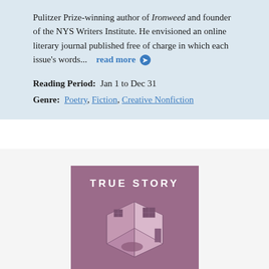Pulitzer Prize-winning author of Ironweed and founder of the NYS Writers Institute. He envisioned an online literary journal published free of charge in which each issue's words...   read more →
Reading Period:  Jan 1 to Dec 31
Genre:  Poetry, Fiction, Creative Nonfiction
[Figure (illustration): Book cover for 'True Story' with mauve/purple background featuring an isometric illustration of a room interior with furniture, and text 'Not Your Ordinary...' at the bottom]